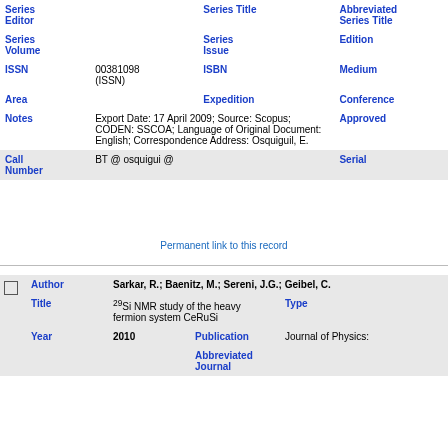| Field | Value | Field | Value |
| --- | --- | --- | --- |
| Series Editor |  | Series Title | Abbreviated Series Title |
| Series Volume |  | Series Issue | Edition |
| ISSN | 00381098 (ISSN) | ISBN | Medium |
| Area |  | Expedition | Conference |
| Notes | Export Date: 17 April 2009; Source: Scopus; CODEN: SSCOA; Language of Original Document: English; Correspondence Address: Osquiguil, E. | Approved |  |
| Call Number | BT @ osquigui @ | Serial |  |
Permanent link to this record
| Field | Value | Field | Value |
| --- | --- | --- | --- |
| Author | Sarkar, R.; Baenitz, M.; Sereni, J.G.; Geibel, C. |  |  |
| Title | 29Si NMR study of the heavy fermion system CeRuSi | Type |  |
| Year | 2010 | Publication | Journal of Physics: |
|  |  | Abbreviated Journal |  |